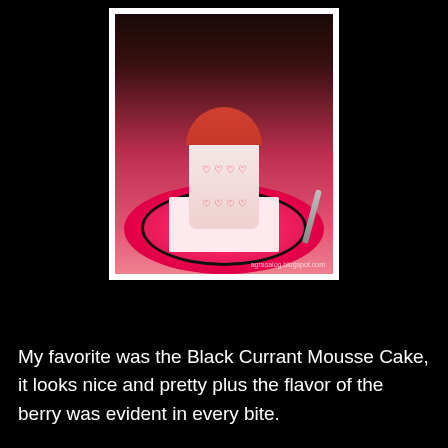[Figure (photo): A Barbie-themed Black Currant Mousse Cake served in a white cup decorated with red hearts, topped with an orange-red mousse with a Barbie silhouette, placed on a pink plate with a spoon, on a pink Barbie-themed placemat. Watermark: agrasalog.blogspot.com]
My favorite was the Black Currant Mousse Cake, it looks nice and pretty plus the flavor of the berry was evident in every bite.